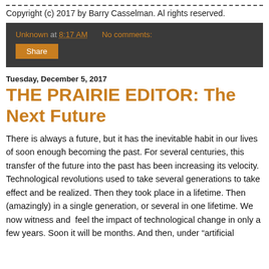Copyright (c) 2017 by Barry Casselman. Al rights reserved.
Unknown at 8:17 AM   No comments:   Share
Tuesday, December 5, 2017
THE PRAIRIE EDITOR: The Next Future
There is always a future, but it has the inevitable habit in our lives of soon enough becoming the past. For several centuries, this transfer of the future into the past has been increasing its velocity. Technological revolutions used to take several generations to take effect and be realized. Then they took place in a lifetime. Then (amazingly) in a single generation, or several in one lifetime. We now witness and feel the impact of technological change in only a few years. Soon it will be months. And then, under "artificial